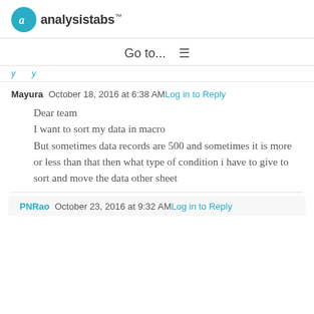analysistabs™
Go to...  ☰
(truncated link text)
Mayura   October 18, 2016 at 6:38 AM  Log in to Reply
Dear team
I want to sort my data in macro
But sometimes data records are 500 and sometimes it is more or less than that then what type of condition i have to give to sort and move the data other sheet
PNRao   October 23, 2016 at 9:32 AM  Log in to Reply